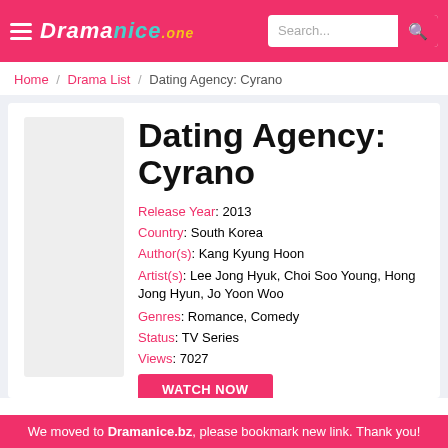DramaOne navigation bar with logo and search
Home / Drama List / Dating Agency: Cyrano
Dating Agency: Cyrano
Release Year: 2013
Country: South Korea
Author(s): Kang Kyung Hoon
Artist(s): Lee Jong Hyuk, Choi Soo Young, Hong Jong Hyun, Jo Yoon Woo
Genres: Romance, Comedy
Status: TV Series
Views: 7027
WATCH NOW
We moved to Dramanice.bz, please bookmark new link. Thank you!